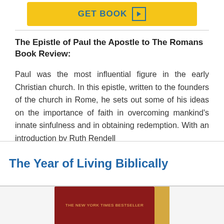[Figure (other): Yellow GET BOOK button with right-arrow icon in teal border]
The Epistle of Paul the Apostle to The Romans Book Review:
Paul was the most influential figure in the early Christian church. In this epistle, written to the founders of the church in Rome, he sets out some of his ideas on the importance of faith in overcoming mankind's innate sinfulness and in obtaining redemption. With an introduction by Ruth Rendell
The Year of Living Biblically
[Figure (photo): Partial view of book cover with red banner reading THE NEW YORK TIMES BESTSELLER]